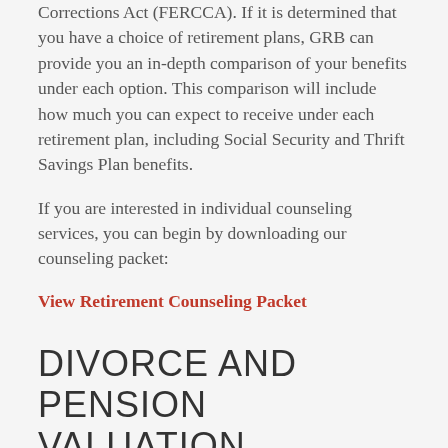Corrections Act (FERCCA). If it is determined that you have a choice of retirement plans, GRB can provide you an in-depth comparison of your benefits under each option. This comparison will include how much you can expect to receive under each retirement plan, including Social Security and Thrift Savings Plan benefits.
If you are interested in individual counseling services, you can begin by downloading our counseling packet:
View Retirement Counseling Packet
DIVORCE AND PENSION VALUATION
Today, divorces frequently require the distribution of retirement and/or survivor